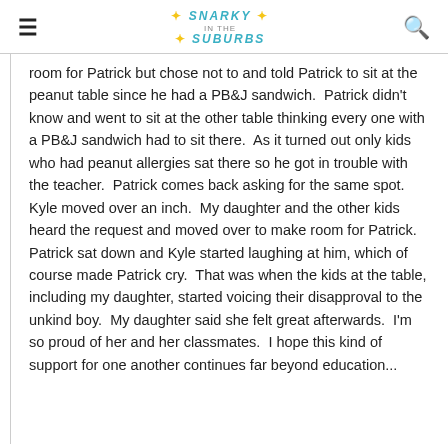Snarky in the Suburbs
room for Patrick but chose not to and told Patrick to sit at the peanut table since he had a PB&J sandwich.  Patrick didn't know and went to sit at the other table thinking every one with a PB&J sandwich had to sit there.  As it turned out only kids who had peanut allergies sat there so he got in trouble with the teacher.  Patrick comes back asking for the same spot.  Kyle moved over an inch.  My daughter and the other kids heard the request and moved over to make room for Patrick.  Patrick sat down and Kyle started laughing at him, which of course made Patrick cry.  That was when the kids at the table, including my daughter, started voicing their disapproval to the unkind boy.  My daughter said she felt great afterwards.  I'm so proud of her and her classmates.  I hope this kind of support for one another continues far beyond education...